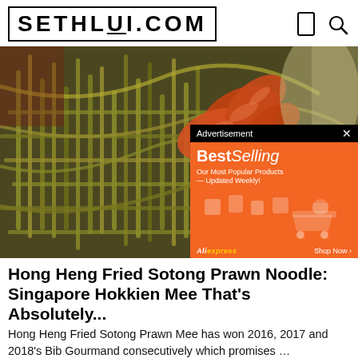SETHLUI.COM
[Figure (photo): Close-up photo of Hokkien Mee noodles with prawns — green/yellow thick noodles and orange prawns visible. An advertisement overlay for AliExpress BestSelling products appears in the bottom-right of the image.]
Hong Heng Fried Sotong Prawn Noodle: Singapore Hokkien Mee That's Absolutely...
Hong Heng Fried Sotong Prawn Mee has won 2016, 2017 and 2018's Bib Gourmand consecutively which promises …
Sethlui